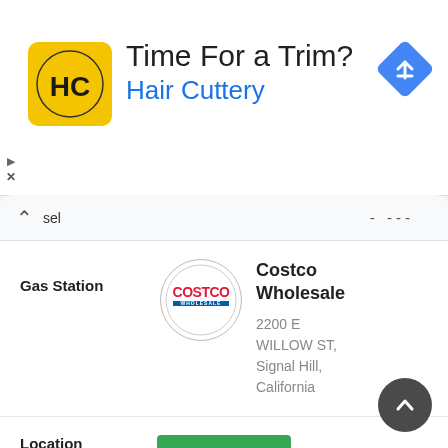[Figure (screenshot): Advertisement banner for Hair Cuttery with yellow logo showing HC letters, text 'Time For a Trim?' and 'Hair Cuttery' in blue, and a blue navigation diamond icon on the right]
sel   - ---
Gas Station
[Figure (logo): Costco Wholesale logo in a circle]
Costco Wholesale
2200 E WILLOW ST, Signal Hill, California
Location   Signal Hill
Regular   $2.690